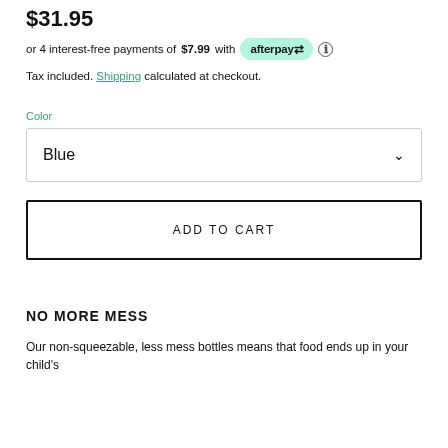$31.95
or 4 interest-free payments of $7.99 with afterpay ℹ
Tax included. Shipping calculated at checkout.
Color
Blue
ADD TO CART
NO MORE MESS
Our non-squeezable, less mess bottles means that food ends up in your child's